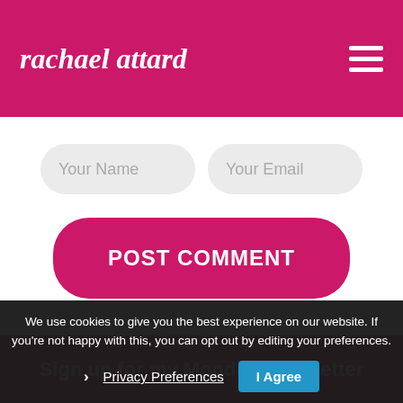rachael attard
[Figure (screenshot): Form fields: Your Name and Your Email input boxes with rounded rectangle styling on white background]
[Figure (screenshot): POST COMMENT button, rounded rectangle, magenta/pink background, white uppercase bold text]
Sign up for my Monday Newsletter
We use cookies to give you the best experience on our website. If you're not happy with this, you can opt out by editing your preferences.
Privacy Preferences  I Agree